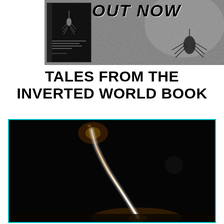[Figure (photo): Black and white banner image showing a close-up of a face and a mosquito-like creature hanging upside down, with a book cover on the left side showing 'Tales from the Inverted World Book'. Bold text 'OUT NOW' overlaid in top right area.]
TALES FROM THE INVERTED WORLD BOOK
[Figure (photo): Night photograph showing a rocket launch with a bright white/orange arc trajectory trail against a very dark black sky, taken from ground level. Image has a cyan/teal border.]